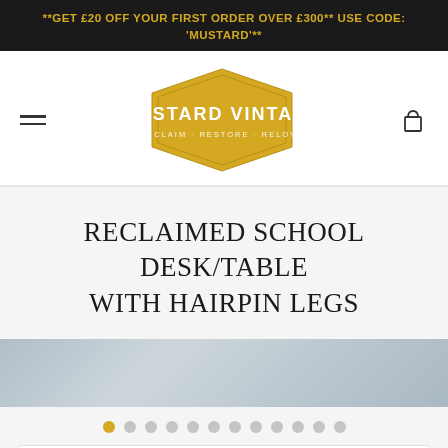**GET £20 OFF YOUR FIRST ORDER OVER £300** USE CODE: 'MUSTARD'**
[Figure (logo): Mustard Vintage logo — yellow hexagonal badge shape with white text 'MUSTARD VINTAGE' and tagline 'RECLAIM · RESTORE · RELOVE']
RECLAIMED SCHOOL DESK/TABLE WITH HAIRPIN LEGS
[Figure (photo): Partial photo of a reclaimed school desk/table top with light grey/blue painted wood grain texture visible]
Image carousel navigation dots — 12 dots, first one active (gold/yellow), rest grey